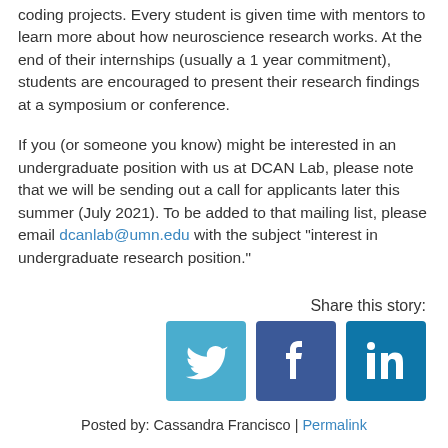coding projects. Every student is given time with mentors to learn more about how neuroscience research works. At the end of their internships (usually a 1 year commitment), students are encouraged to present their research findings at a symposium or conference.
If you (or someone you know) might be interested in an undergraduate position with us at DCAN Lab, please note that we will be sending out a call for applicants later this summer (July 2021). To be added to that mailing list, please email dcanlab@umn.edu with the subject "interest in undergraduate research position."
Share this story:
[Figure (other): Social sharing icons for Twitter, Facebook, and LinkedIn]
Posted by: Cassandra Francisco | Permalink